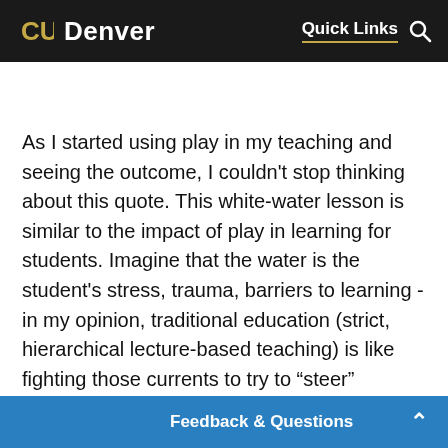CU Denver | Quick Links
As I started using play in my teaching and seeing the outcome, I couldn't stop thinking about this quote. This white-water lesson is similar to the impact of play in learning for students. Imagine that the water is the student's stress, trauma, barriers to learning - in my opinion, traditional education (strict, hierarchical lecture-based teaching) is like fighting those currents to try to “steer” students’ learning. However, play is organizing your tools and effort to work with the current. Play reduces stress and anxiety, allows students to feel safe, and enables them to concentrate in order to access the content in a way that is li... beneficial position for th...
Feedback & Questions